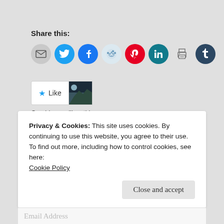Share this:
[Figure (infographic): Row of social share icon circles: email (grey), Twitter (blue bird), Facebook (blue f), Reddit (light blue alien), Pinterest (red P), LinkedIn (teal in), Print (grey printer), Tumblr (dark blue t)]
[Figure (infographic): Like button with blue star and word Like, next to a small thumbnail photo of a mountain lake scene. Text below: One blogger likes this.]
One blogger likes this.
Privacy & Cookies: This site uses cookies. By continuing to use this website, you agree to their use.
To find out more, including how to control cookies, see here:
Cookie Policy
Close and accept
Email Address